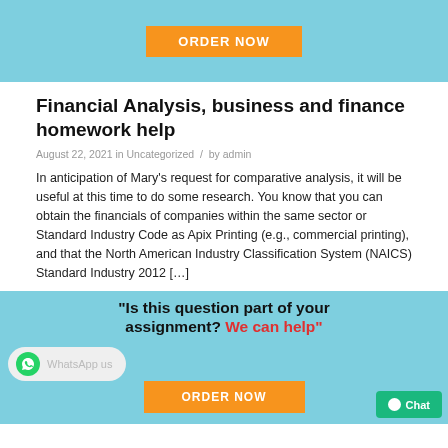[Figure (other): Top light blue banner with orange ORDER NOW button]
Financial Analysis, business and finance homework help
August 22, 2021 in Uncategorized  /  by admin
In anticipation of Mary’s request for comparative analysis, it will be useful at this time to do some research. You know that you can obtain the financials of companies within the same sector or Standard Industry Code as Apix Printing (e.g., commercial printing), and that the North American Industry Classification System (NAICS) Standard Industry 2012 […]
[Figure (other): Bottom light blue banner with text '"Is this question part of your assignment? We can help"', a WhatsApp us input bar, an ORDER NOW orange button, and a green Chat button]